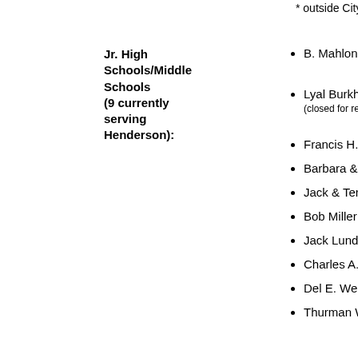* outside City of Hende
Jr. High Schools/Middle Schools (9 currently serving Henderson):
B. Mahlon Brown
Lyal Burkholder (closed for reconstruction)
Francis H. Cortney *
Barbara & Hank Greer
Jack & Terry Mannion
Bob Miller
Jack Lund Schofield *
Charles A. Silvestri *
Del E. Webb
Thurman White
* outside City of Hende
High Schools (9 serving Henderson):
Basic
Community College Sc
Coronado
Del Sol